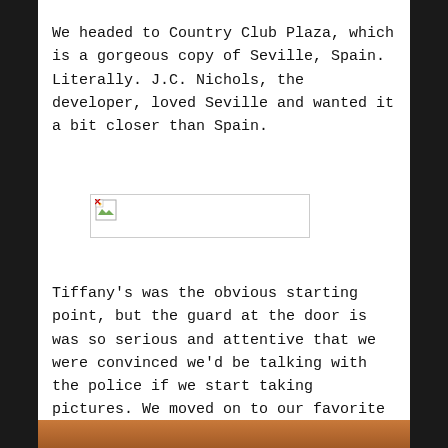We headed to Country Club Plaza, which is a gorgeous copy of Seville, Spain. Literally. J.C. Nichols, the developer, loved Seville and wanted it a bit closer than Spain.
[Figure (photo): Broken/unloaded image placeholder showing a small broken image icon at the top-left of a bordered rectangle]
Tiffany's was the obvious starting point, but the guard at the door is was so serious and attentive that we were convinced we'd be talking with the police if we start taking pictures. We moved on to our favorite store, Hall's.
[Figure (photo): Bottom strip of a photograph showing what appears to be a person, partially visible at the bottom of the page]